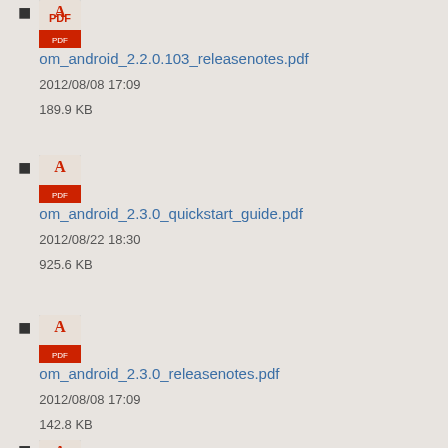om_android_2.2.0.103_releasenotes.pdf
2012/08/08 17:09
189.9 KB
om_android_2.3.0_quickstart_guide.pdf
2012/08/22 18:30
925.6 KB
om_android_2.3.0_releasenotes.pdf
2012/08/08 17:09
142.8 KB
om_android_2.3_release_notes.pdf
2012/05/08 17:04